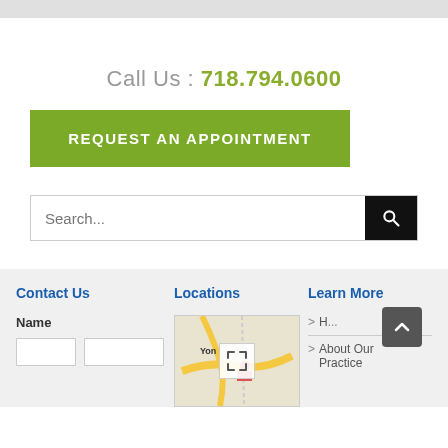Call Us : 718.794.0600
REQUEST AN APPOINTMENT
Search...
Contact Us
Locations
Learn More
Name
[Figure (map): Map showing Yonkers area location]
> H...
> About Our Practice